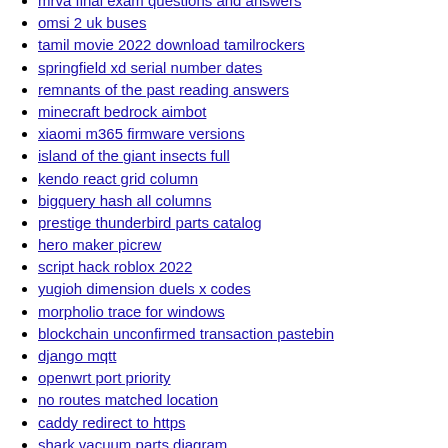mrva final exam questions and answers
omsi 2 uk buses
tamil movie 2022 download tamilrockers
springfield xd serial number dates
remnants of the past reading answers
minecraft bedrock aimbot
xiaomi m365 firmware versions
island of the giant insects full
kendo react grid column
bigquery hash all columns
prestige thunderbird parts catalog
hero maker picrew
script hack roblox 2022
yugioh dimension duels x codes
morpholio trace for windows
blockchain unconfirmed transaction pastebin
django mqtt
openwrt port priority
no routes matched location
caddy redirect to https
shark vacuum parts diagram
samsung t295 combination file
lilith in 5th house meaning
usbc open championships 2022 results
caucasian queen bees for sale
vietnam war footage gore